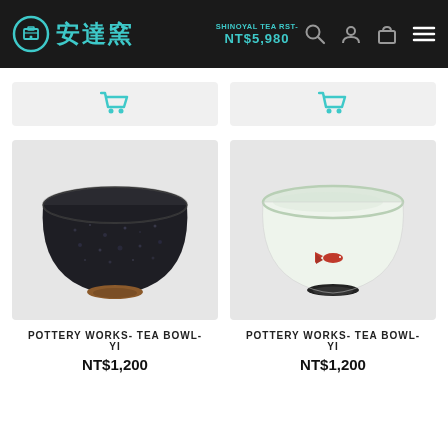安達窯 (Andakiln) — navigation header with logo, search, user, cart icons, and hamburger menu. Price shown: NT$5,980
[Figure (screenshot): Two teal shopping cart icon buttons on light grey background]
[Figure (photo): Dark glazed ceramic tea bowl with speckled blue-black glaze and terracotta foot ring]
POTTERY WORKS- TEA BOWL- YI
NT$1,200
[Figure (photo): White/celadon ceramic tea bowl with red fish motif and dark foot ring]
POTTERY WORKS- TEA BOWL- YI
NT$1,200